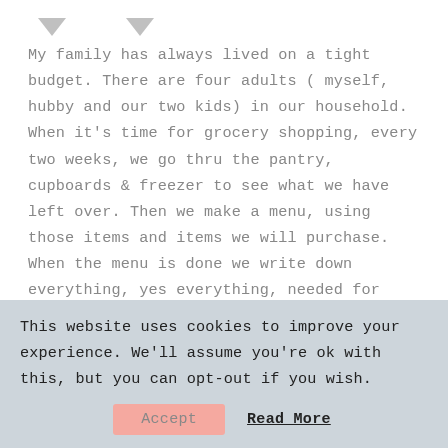My family has always lived on a tight budget. There are four adults ( myself, hubby and our two kids) in our household. When it's time for grocery shopping, every two weeks, we go thru the pantry, cupboards & freezer to see what we have left over. Then we make a menu, using those items and items we will purchase. When the menu is done we write down everything, yes everything, needed for each meal. Now it is time to make our shopping list. I have made a master list in excel (print them off) of the things we buy most often.
This website uses cookies to improve your experience. We'll assume you're ok with this, but you can opt-out if you wish.
Accept   Read More